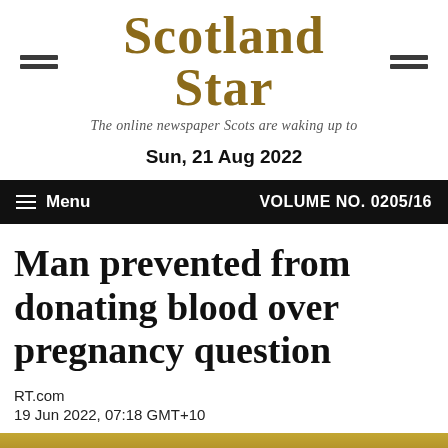Scotland Star — The online newspaper Scots are waking up to
Sun, 21 Aug 2022
☰ Menu    VOLUME NO. 0205/16
Man prevented from donating blood over pregnancy question
RT.com
19 Jun 2022, 07:18 GMT+10
[Figure (photo): Bottom strip showing a partial photo, warm yellow/gold tones visible at bottom of page]